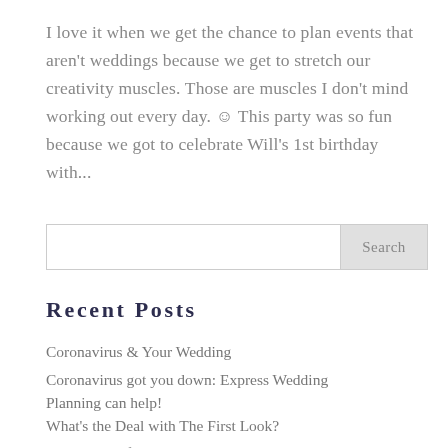I love it when we get the chance to plan events that aren't weddings because we get to stretch our creativity muscles. Those are muscles I don't mind working out every day. ☺ This party was so fun because we got to celebrate Will's 1st birthday with...
Search
Recent Posts
Coronavirus & Your Wedding
Coronavirus got you down: Express Wedding Planning can help!
What's the Deal with The First Look?
Stop Asking for Reasonably Priced Vendor